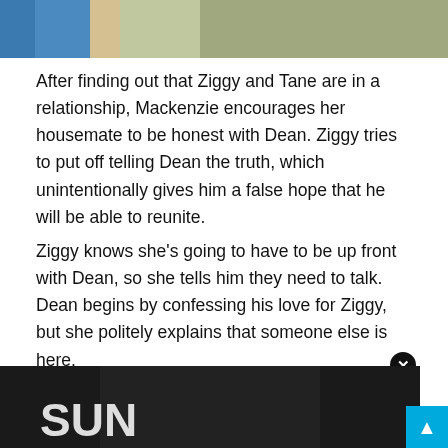[Figure (photo): Top portion of a photo showing people standing outdoors, partially cropped at the top of the page.]
After finding out that Ziggy and Tane are in a relationship, Mackenzie encourages her housemate to be honest with Dean. Ziggy tries to put off telling Dean the truth, which unintentionally gives him a false hope that he will be able to reunite.
Ziggy knows she's going to have to be up front with Dean, so she tells him they need to talk. Dean begins by confessing his love for Ziggy, but she politely explains that someone else is here.
6. Colb
[Figure (screenshot): Advertisement overlay showing a dark gaming app ad with the text 'Hold and Move' and a close button.]
[Figure (photo): Bottom portion of the page showing a dark photo with bright text, partially obscured.]